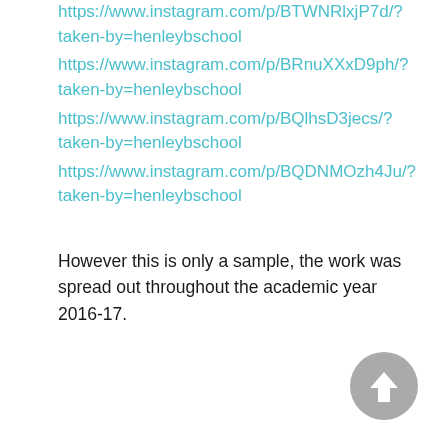https://www.instagram.com/p/BTWNRlxjP7d/?taken-by=henleybschool
https://www.instagram.com/p/BRnuXXxD9ph/?taken-by=henleybschool
https://www.instagram.com/p/BQlhsD3jecs/?taken-by=henleybschool
https://www.instagram.com/p/BQDNMOzh4Ju/?taken-by=henleybschool
However this is only a sample, the work was spread out throughout the academic year 2016-17.